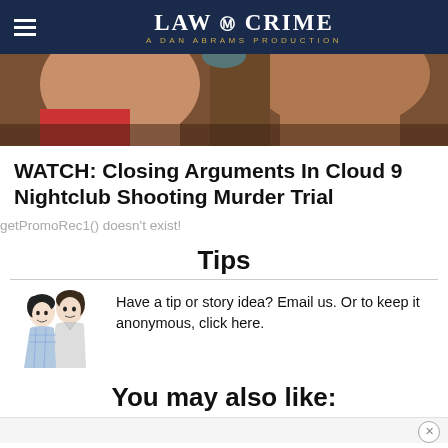LAW & CRIME — A DAN ABRAMS PRODUCTION
[Figure (photo): Close-up photo of two people's faces/necks]
WATCH: Closing Arguments In Cloud 9 Nightclub Shooting Murder Trial
getPromoRec1() doesn't exist!
Tips
[Figure (illustration): Vintage illustration of two women gossiping]
Have a tip or story idea? Email us. Or to keep it anonymous, click here.
You may also like:
AP Test